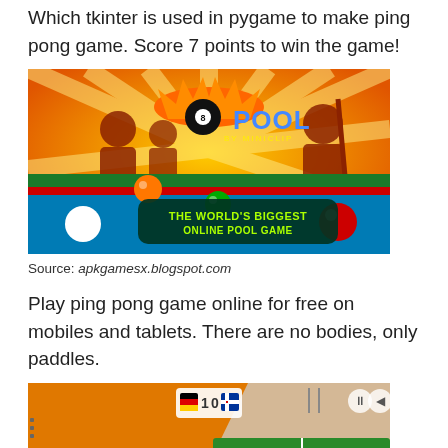Which tkinter is used in pygame to make ping pong game. Score 7 points to win the game!
[Figure (photo): 8 Ball Pool by Miniclip game advertisement image showing billiard balls on a pool table with text 'THE WORLD'S BIGGEST ONLINE POOL GAME']
Source: apkgamesx.blogspot.com
Play ping pong game online for free on mobiles and tablets. There are no bodies, only paddles.
[Figure (photo): Ping pong / table tennis mobile game screenshot showing 'SMASH THAT BALL!' with a green table tennis table, score display showing 1-0]